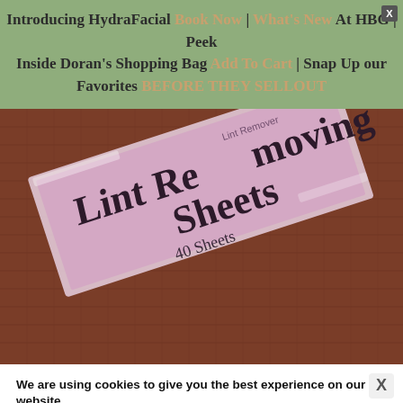Introducing HydraFacial Book Now | What's New At HBG | Peek Inside Doran's Shopping Bag Add To Cart | Snap Up our Favorites BEFORE THEY SELLOUT
[Figure (photo): Close-up photo of a pink package of Lint Removing Sheets with '40 Sheets' printed on it, resting on a red/brown textured fabric surface.]
We are using cookies to give you the best experience on our website.
You can find out more about which cookies we are using or switch them off in settings.
[Figure (screenshot): Advertisement banner for BitLife - Life Simulator app showing a small thumbnail with a yellow emoji character and game UI elements, with an Install! button.]